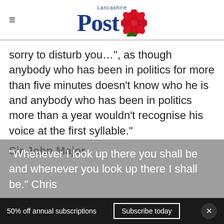Lancashire Post
sorry to disturb you…", as though anybody who has been in politics for more than five minutes doesn't know who he is and anybody who has been in politics more than a year wouldn't recognise his voice at the first syllable."
Sir John Major
"Whenever I look up there you shall be and whenever you look up there I shall be." Chris
50% off annual subscriptions   Subscribe today   ×